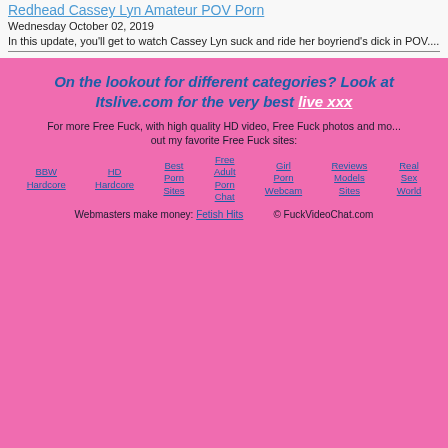Redhead Cassey Lyn Amateur POV Porn
Wednesday October 02, 2019
In this update, you'll get to watch Cassey Lyn suck and ride her boyriend's dick in POV....
On the lookout for different categories? Look at Itslive.com for the very best live xxx
For more Free Fuck, with high quality HD video, Free Fuck photos and mo... out my favorite Free Fuck sites:
BBW Hardcore
HD Hardcore
Best Porn Sites
Free Adult Porn Chat
Girl Porn Webcam
Reviews Models Sites
Real Sex World
Webmasters make money: Fetish Hits   © FuckVideoChat.com